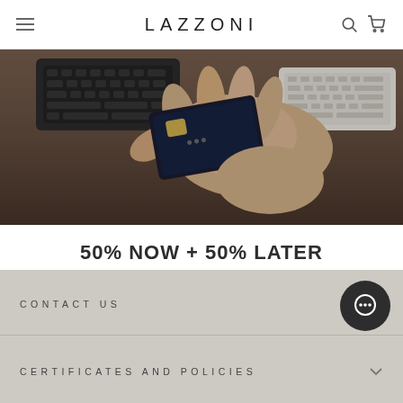LAZZONI
[Figure (photo): Close-up photo of hands holding a credit card near a keyboard on a dark desk surface]
50% NOW + 50% LATER
Contact us or visit our Showroom for 50% advance and 50% after delivery payment option with 0% interest.
I WANT TO PAY IN INSTALLMENTS
CONTACT US
CERTIFICATES AND POLICIES